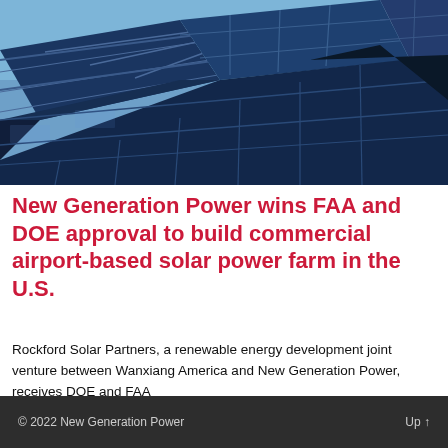[Figure (photo): Close-up photograph of dark blue solar panels arranged in a grid pattern against a partly cloudy sky]
New Generation Power wins FAA and DOE approval to build commercial airport-based solar power farm in the U.S.
Rockford Solar Partners, a renewable energy development joint venture between Wanxiang America and New Generation Power, receives DOE and FAA
© 2022 New Generation Power    Up ↑